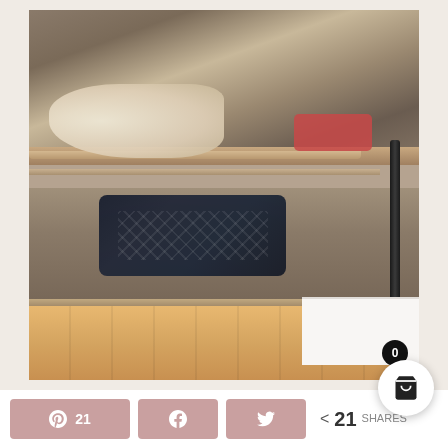[Figure (photo): Close-up photo of a rustic distressed wood and metal shelving unit used as a shoe rack, with shoes and argyle socks stored on the shelves. The wood has a whitewashed/weathered finish. The unit sits on a wood floor near a white baseboard.]
Pinterest share button showing 21 shares, Facebook share button, Twitter share button, < 21 SHARES